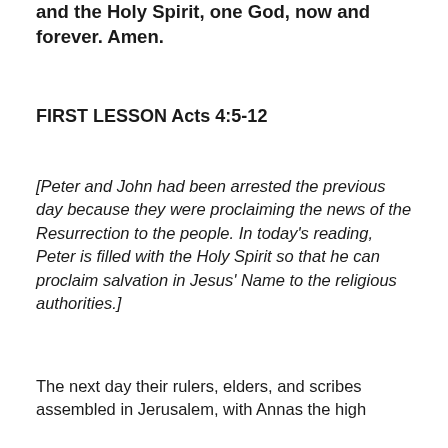and the Holy Spirit, one God, now and forever. Amen.
FIRST LESSON Acts 4:5-12
[Peter and John had been arrested the previous day because they were proclaiming the news of the Resurrection to the people. In today's reading, Peter is filled with the Holy Spirit so that he can proclaim salvation in Jesus' Name to the religious authorities.]
The next day their rulers, elders, and scribes assembled in Jerusalem, with Annas the high